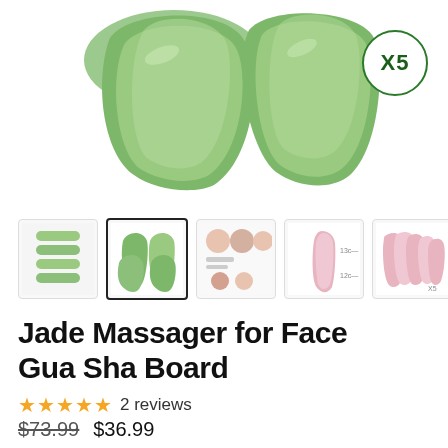[Figure (photo): Two green jade gua sha massager stones in close-up view with an X5 badge indicating pack of 5]
[Figure (photo): Row of 5 product thumbnail images: stacked jade stones, selected jade gua sha set (bordered), usage instructions, pink gua sha tool, pink gua sha stones x5]
Jade Massager for Face Gua Sha Board
★★★★★ 2 reviews
$73.99  $36.99